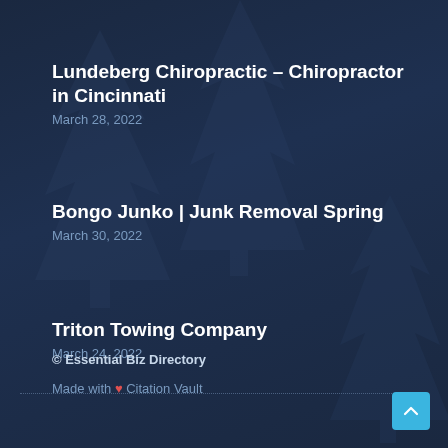Lundeberg Chiropractic – Chiropractor in Cincinnati
March 28, 2022
Bongo Junko | Junk Removal Spring
March 30, 2022
Triton Towing Company
March 24, 2022
© Essential Biz Directory
Made with ❤ Citation Vault